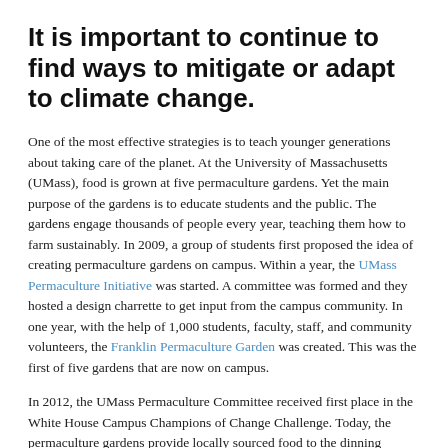It is important to continue to find ways to mitigate or adapt to climate change.
One of the most effective strategies is to teach younger generations about taking care of the planet. At the University of Massachusetts (UMass), food is grown at five permaculture gardens. Yet the main purpose of the gardens is to educate students and the public. The gardens engage thousands of people every year, teaching them how to farm sustainably. In 2009, a group of students first proposed the idea of creating permaculture gardens on campus. Within a year, the UMass Permaculture Initiative was started. A committee was formed and they hosted a design charrette to get input from the campus community. In one year, with the help of 1,000 students, faculty, staff, and community volunteers, the Franklin Permaculture Garden was created. This was the first of five gardens that are now on campus.
In 2012, the UMass Permaculture Committee received first place in the White House Campus Champions of Change Challenge. Today, the permaculture gardens provide locally sourced food to the dinning commons and student farmers'